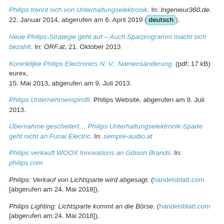Philips trennt sich von Unterhaltungselektronik. In: Ingenieur360.de. 22. Januar 2014, abgerufen am 6. April 2019 (deutsch).
Neue Philips-Strategie geht auf – Auch Sparprogramm macht sich bezahlt. In: ORF.at, 21. Oktober 2013
Koninklijke Philips Electronics N. V.: Namensänderung. (pdf; 17 kB) eurex, 15. Mai 2013, abgerufen am 9. Juli 2013.
Philips Unternehmensprofil. Philips Website, abgerufen am 9. Juli 2013.
Übernahme gescheitert… Philips Unterhaltungselektronik-Sparte geht nicht an Funai Electric. In: sempre-audio.at
Philips verkauft WOOX Innovations an Gibson Brands. In: philips.com
Philips: Verkauf von Lichtsparte wird abgesagt. (handelsblatt.com [abgerufen am 24. Mai 2018]).
Philips Lighting: Lichtsparte kommt an die Börse. (handelsblatt.com [abgerufen am 24. Mai 2018]).